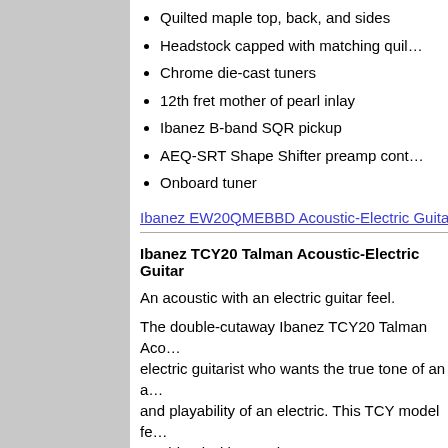Quilted maple top, back, and sides
Headstock capped with matching quil…
Chrome die-cast tuners
12th fret mother of pearl inlay
Ibanez B-band SQR pickup
AEQ-SRT Shape Shifter preamp cont…
Onboard tuner
Ibanez EW20QMEBBD Acoustic-Electric Guitar
Ibanez TCY20 Talman Acoustic-Electric Guitar
An acoustic with an electric guitar feel.
The double-cutaway Ibanez TCY20 Talman Acoustic-Electric guitar is for the electric guitarist who wants the true tone of an acoustic with the feel and playability of an electric. This TCY model fe… combined with an ash top.
Ibanez TCY20 Talman Acoustic-Electric Guitar F…
Chrome die-cast tuners
Mahogany…